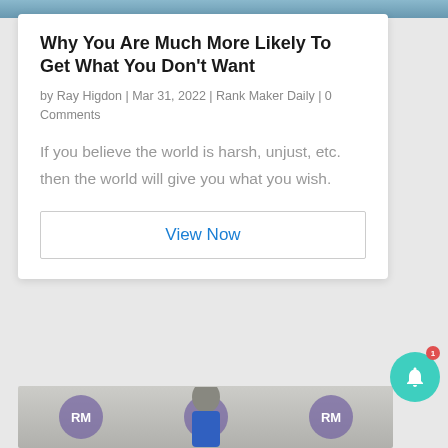[Figure (photo): Top image strip partially visible at the top of the page]
Why You Are Much More Likely To Get What You Don't Want
by Ray Higdon | Mar 31, 2022 | Rank Maker Daily | 0 Comments
If you believe the world is harsh, unjust, etc. then the world will give you what you wish.
View Now
[Figure (photo): A man speaking in front of RM University branded backdrop with multiple logo placements]